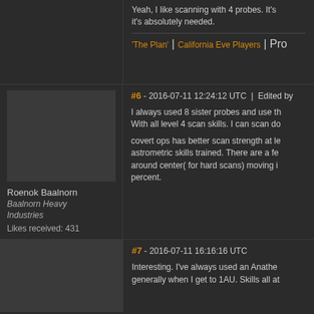Yeah, I like scanning with 4 probes. It's absolutely needed.
'The Plan' | California Eve Players | Pro
#6 - 2016-07-11 12:24:12 UTC  |  Edited by
I always used 8 sister probes and use th With all level 4 scan skills. I can scan do
covert ops has better scan strength at le astrometric skills trained. There are a fe around center( for hard scans) moving i percent.
Roenok Baalnorn
Baalnorn Heavy Industries
Likes received: 431
#7 - 2016-07-11 16:16:16 UTC
Interesting. I've always used an Anathe generally when I get to 1AU. Skills all at